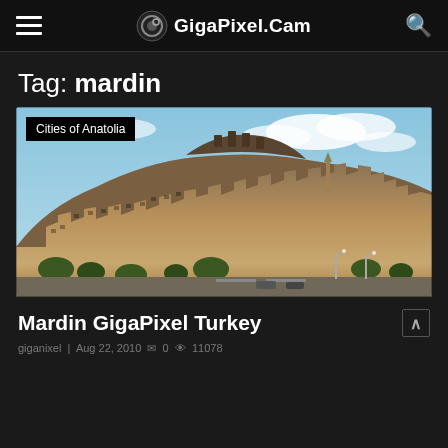GigaPixel.Cam
Tag: mardin
[Figure (photo): Panoramic photo of Mardin, Turkey — a hillside city with stone buildings, a fortress at the top, blue sky with clouds, and green trees at the base.]
Cities of Anatolia
Mardin GigaPixel Turkey
giganixel | Aug 22, 2010 | 0 | 11078